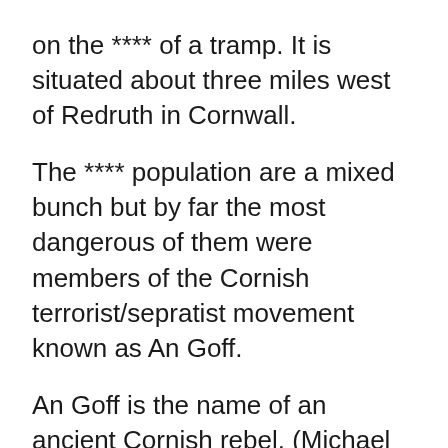on the **** of a tramp. It is situated about three miles west of Redruth in Cornwall.
The **** population are a mixed bunch but by far the most dangerous of them were members of the Cornish terrorist/sepratist movement known as An Goff.
An Goff is the name of an ancient Cornish rebel. (Michael Joseph An Goff of St Keverne). He was a local smithy who marched towards London with many men to protest the terrible conditions faced by Cornish tin minors. Having beaten Henry V11's calvary at Guildford he became over ambitious and decided to take on the government forces in London. As a result